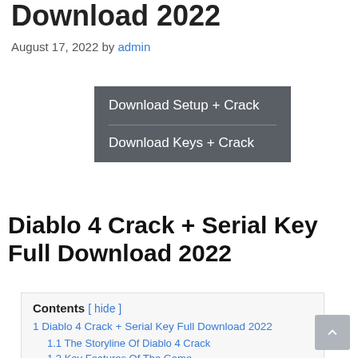Download 2022
August 17, 2022 by admin
[Figure (other): Two dark grey download buttons: 'Download Setup + Crack' and 'Download Keys + Crack']
Diablo 4 Crack + Serial Key Full Download 2022
Contents [ hide ]
1 Diablo 4 Crack + Serial Key Full Download 2022
1.1 The Storyline Of Diablo 4 Crack
1.2 Key Features Of The Game
1.3 Character Classes Of Diablo 4 Crack